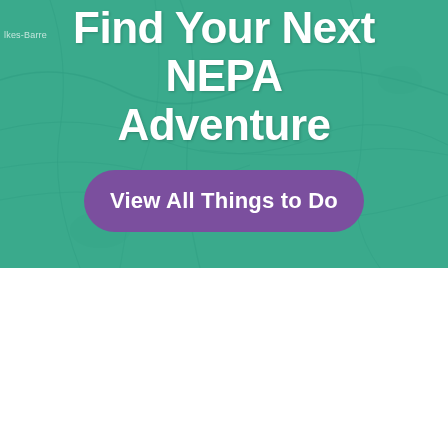Find Your Next NEPA Adventure
View All Things to Do
[Figure (logo): Discover NEPA logo with 'NEPA' in large dark green letters, 'DISCOVER' arched above, registered trademark symbol, and 'Powered by MERICLE' below]
MENU